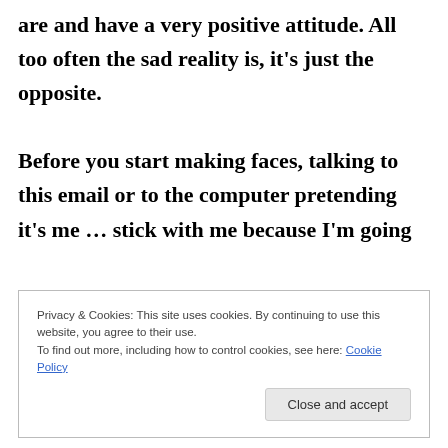are and have a very positive attitude. All too often the sad reality is, it's just the opposite.

Before you start making faces, talking to this email or to the computer pretending it's me … stick with me because I'm going
Privacy & Cookies: This site uses cookies. By continuing to use this website, you agree to their use.
To find out more, including how to control cookies, see here: Cookie Policy
Close and accept